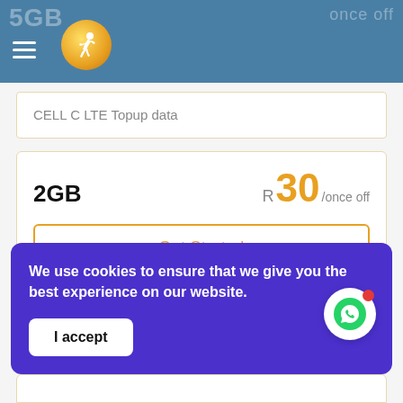5GB | once off
[Figure (logo): Telkom/network provider logo — orange circle with white running figure]
CELL C LTE Topup data
2GB  R30/once off
Get Started
We use cookies to ensure that we give you the best experience on our website.
I accept